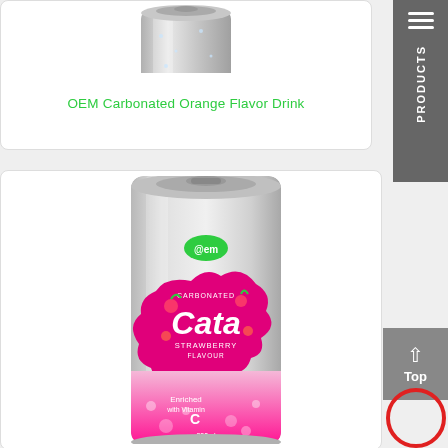[Figure (photo): Silver carbonated drink can (OEM brand) with condensation/water droplets, partially cropped at top]
OEM Carbonated Orange Flavor Drink
[Figure (other): PRODUCTS vertical sidebar label with hamburger menu icon]
[Figure (photo): Silver can with pink label 'Cata Carbonated Strawberry Flavour' enriched with Vitamin C, 330ml, OEM brand, with strawberry graphics and bubbles]
[Figure (other): Scroll-to-top button with upward arrow and 'Top' text, plus a red circle button]